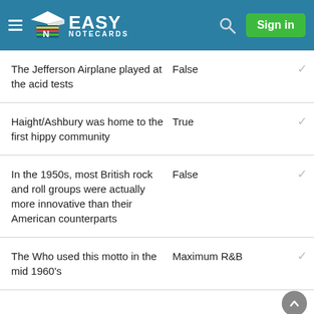Easy Notecards
| Question | Answer |  |
| --- | --- | --- |
| The Jefferson Airplane played at the acid tests | False | ✓ |
| Haight/Ashbury was home to the first hippy community | True | ✓ |
| In the 1950s, most British rock and roll groups were actually more innovative than their American counterparts | False | ✓ |
| The Who used this motto in the mid 1960's | Maximum R&B | ✓ |